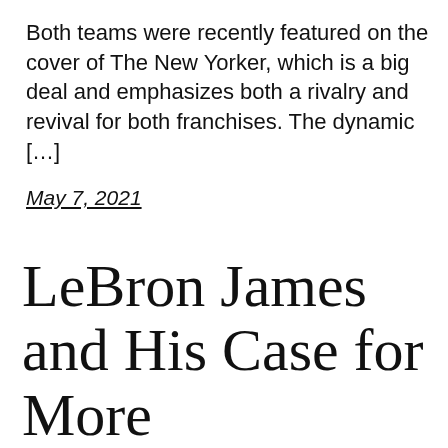Both teams were recently featured on the cover of The New Yorker, which is a big deal and emphasizes both a rivalry and revival for both franchises. The dynamic […]
May 7, 2021
LeBron James and His Case for More